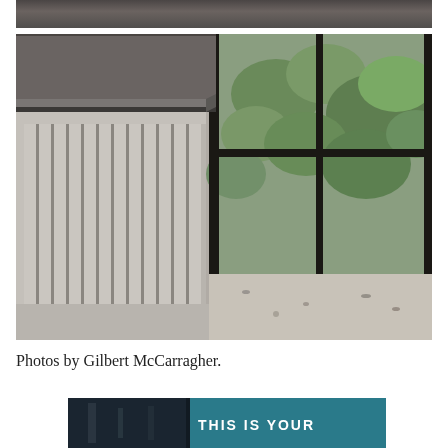[Figure (photo): Partial top strip of a dark stone or marble surface, dark gray tones, cropped view from previous page]
[Figure (photo): Close-up interior photograph of a modern kitchen island or sideboard with a dark concrete-look stone countertop and ribbed/fluted light gray cabinet panels below, next to large black-framed windows with green foliage visible outside, terrazzo-style floor visible in the lower right]
Photos by Gilbert McCarragher.
[Figure (photo): Partial bottom strip of an image showing text reading 'THIS IS YOUR' in white letters on a dark blue/teal background with architectural elements]